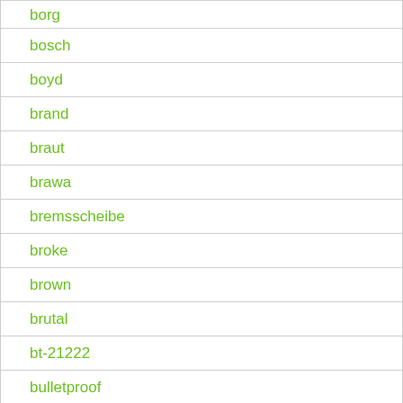borg
bosch
boyd
brand
braut
brawa
bremsscheibe
broke
brown
brutal
bt-21222
bulletproof
bundle